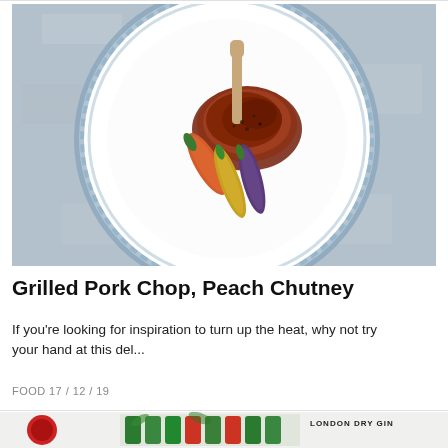[Figure (photo): Grilled pork chop on a rustic blue and white ceramic plate with colorful roasted vegetables on a grey stone background, viewed from above.]
Grilled Pork Chop, Peach Chutney
If you're looking for inspiration to turn up the heat, why not try your hand at this del...
FOOD 17 / 12 / 19
[Figure (photo): Advertisement banner showing gin bottles with botanical decoration and text LONDON DRY GIN.]